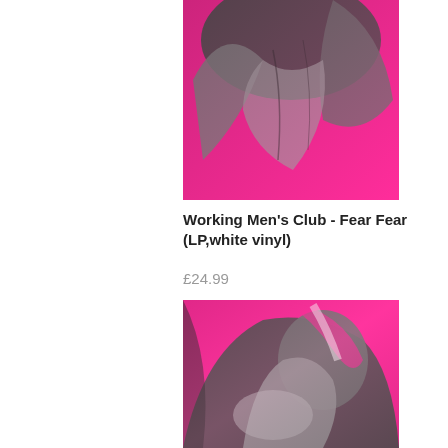[Figure (photo): Album cover artwork showing a grayscale figure/clothing detail against a vivid magenta/hot pink background, cropped at top]
Working Men's Club - Fear Fear (LP,white vinyl)
£24.99
[Figure (photo): Album cover artwork showing a grayscale figure with a face looking down, wearing a jacket, against a vivid magenta/hot pink background]